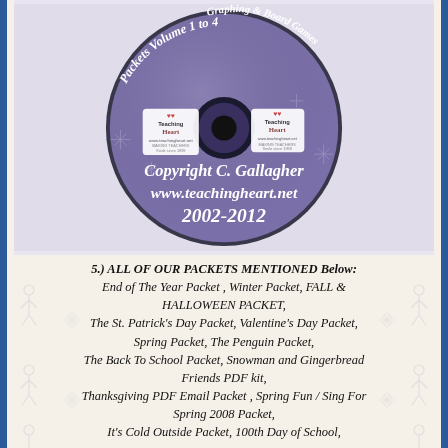[Figure (photo): A purple CD/DVD disc with 'Teaching Heart' logos, curved text reading 'Packets Volume 1 to 4' and 'Graphing & Board Games', and center text reading 'Copyright C. Gallagher www.teachingheart.net 2002-2012']
5.) ALL OF OUR PACKETS MENTIONED Below: End of The Year Packet , Winter Packet, FALL & HALLOWEEN PACKET, The St. Patrick's Day Packet, Valentine's Day Packet, Spring Packet, The Penguin Packet, The Back To School Packet, Snowman and Gingerbread Friends PDF kit, Thanksgiving PDF Email Packet , Spring Fun / Sing For Spring 2008 Packet, It's Cold Outside Packet, 100th Day of School,